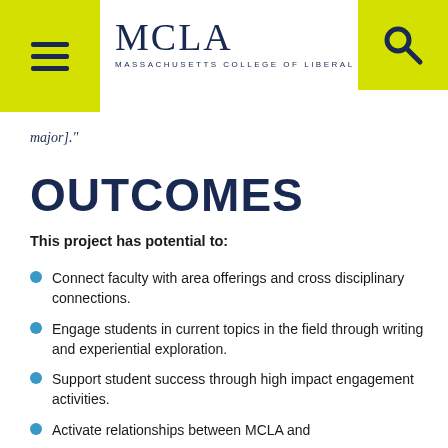MCLA — Massachusetts College of Liberal Arts
major]."
OUTCOMES
This project has potential to:
Connect faculty with area offerings and cross disciplinary connections.
Engage students in current topics in the field through writing and experiential exploration.
Support student success through high impact engagement activities.
Activate relationships between MCLA and